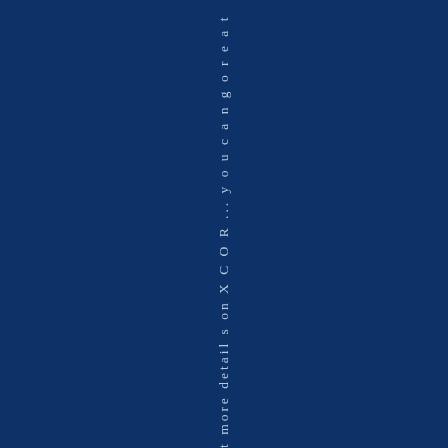t more details on XCOR ... you can go or ea t